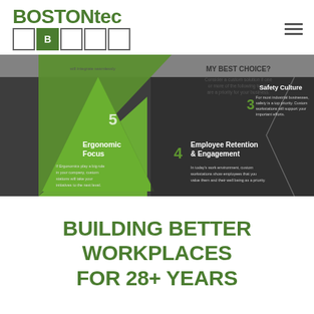[Figure (logo): BOSTONtec logo with green bold text and a row of 5 boxes, the second filled green with letter B]
[Figure (infographic): Marketing infographic showing numbered reasons to choose custom workstations: 5 Ergonomic Focus, 4 Employee Retention & Engagement, 3 Safety Culture, with triangle/chevron shapes in green and dark gray]
BUILDING BETTER WORKPLACES FOR 28+ YEARS